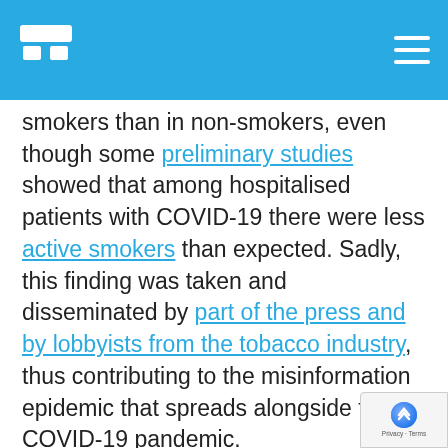[Logo] [Hamburger menu]
smokers than in non-smokers, even though some preliminary studies showed that among hospitalised patients with COVID-19 there were less active smokers than expected. Sadly, this finding was taken and disseminated by part of the press and by lobbyists from the tobacco industry, thus contributing to the misinformation epidemic that spreads alongside the COVID-19 pandemic.
Although some groups have decided to investigate what substances within tobacco might have a therapeutic role, smoking will, in no be an advisable preventive measure to an known disease. COVID-19 or other